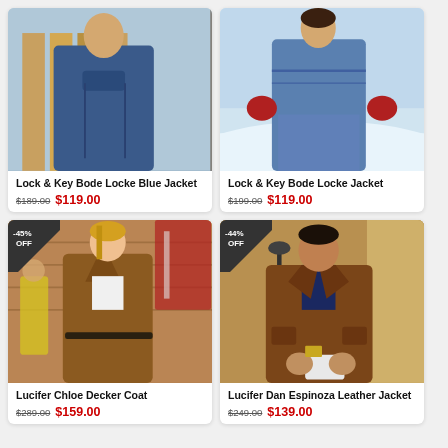[Figure (photo): Lock & Key Bode Locke Blue Jacket product photo - person in blue jacket outdoors]
Lock & Key Bode Locke Blue Jacket
$189.00  $119.00
[Figure (photo): Lock & Key Bode Locke Jacket product photo - person in jacket in snowy scene]
Lock & Key Bode Locke Jacket
$199.00  $119.00
[Figure (photo): Lucifer Chloe Decker Coat product photo - woman in brown suede coat outdoors, -45% OFF badge]
Lucifer Chloe Decker Coat
$289.00  $159.00
[Figure (photo): Lucifer Dan Espinoza Leather Jacket product photo - man in brown leather jacket, -44% OFF badge]
Lucifer Dan Espinoza Leather Jacket
$249.00  $139.00